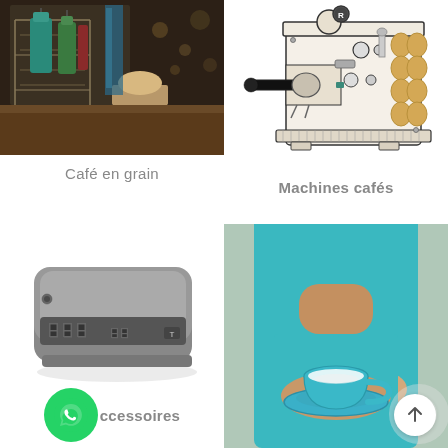[Figure (photo): Photo of coffee bags hanging on wooden display at outdoor cafe setting with warm lighting]
Café en grain
[Figure (illustration): Line drawing illustration of an espresso machine with capsule pod holder on the right side]
Machines cafés
[Figure (photo): Photo of a grey digital kitchen scale with LED display]
[Figure (logo): WhatsApp green circle logo button]
ccessoires
[Figure (photo): Photo of a person in teal shirt holding a teal espresso cup and saucer]